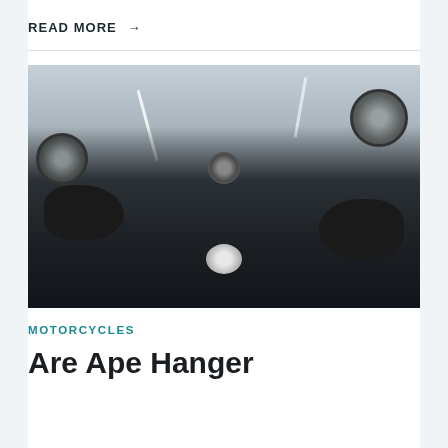READ MORE →
[Figure (photo): First-person view from a motorcycle rider showing handlebars, mirrors, gloved hands, fuel tank with cap, and open road ahead]
MOTORCYCLES
Are Ape Hanger